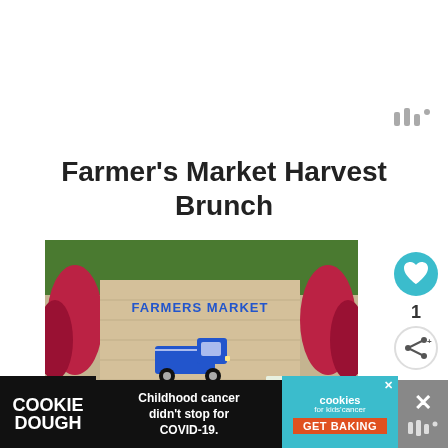Farmer's Market Harvest Brunch
[Figure (photo): Photo of a rustic wooden Farmer's Market sign with blue truck graphic and 'FRESH PRODUCE' text, flanked by red flowers]
1
WHAT'S NEXT → Healthy Fruit Christmas...
[Figure (infographic): Advertisement banner: COOKIE DOUGH - Childhood cancer didn't stop for COVID-19. Cookies for kids cancer GET BAKING]